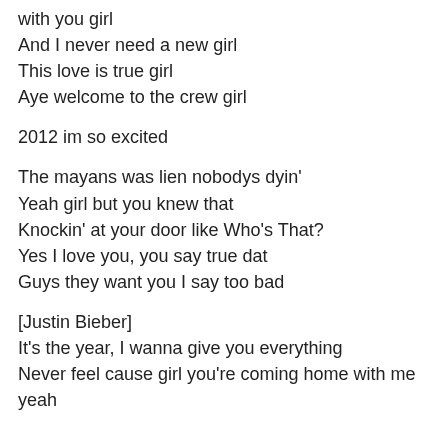with you girl
And I never need a new girl
This love is true girl
Aye welcome to the crew girl

2012 im so excited

The mayans was lien nobodys dyin'
Yeah girl but you knew that
Knockin' at your door like Who's That?
Yes I love you, you say true dat
Guys they want you I say too bad

[Justin Bieber]
It's the year, I wanna give you everything
Never feel cause girl you're coming home with me yeah